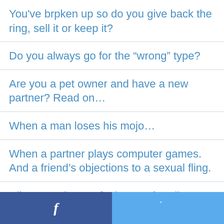You've brpken up so do you give back the ring, sell it or keep it?
Do you always go for the “wrong” type?
Are you a pet owner and have a new partner? Read on…
When a man loses his mojo…
When a partner plays computer games. And a friend’s objections to a sexual fling.
Dilemmas: how to feel sexy after divorce and steering clear of married men…
f  [Twitter bird icon]